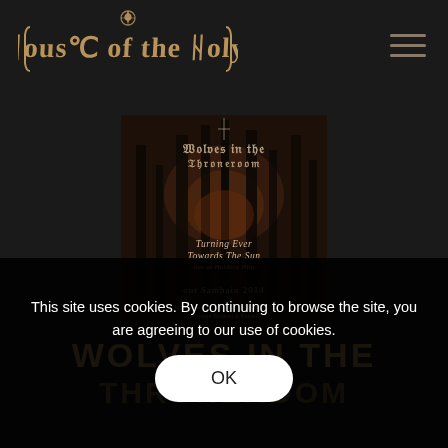House of the Holy — navigation header with logo and hamburger menu
[Figure (photo): Album cover for Wolves in the Throneroom 'Turning Ever Towards the Sun, Live at Heidnig Hlin' limited edition gatefold 180gram 2LP, 24-page booklet and poster, out Samhain 2014]
WOLVES IN THE THRONEROOM
This site uses cookies. By continuing to browse the site, you are agreeing to our use of cookies.
OK